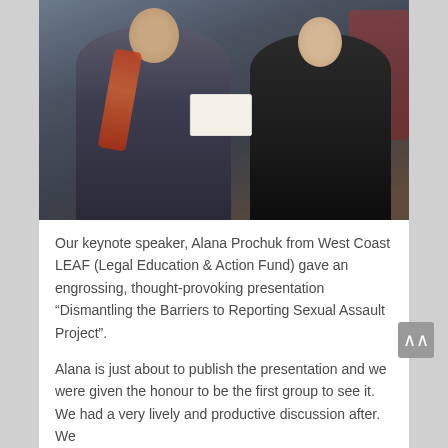[Figure (photo): Two women standing together, one on the left wearing a dark top with a colorful scarf and name badge, the other on the right wearing a dark dress, exchanging or holding a document/envelope. Red chairs visible in the background.]
Our keynote speaker, Alana Prochuk from West Coast LEAF (Legal Education & Action Fund) gave an engrossing, thought-provoking presentation “Dismantling the Barriers to Reporting Sexual Assault Project”.
Alana is just about to publish the presentation and we were given the honour to be the first group to see it. We had a very lively and productive discussion after. We